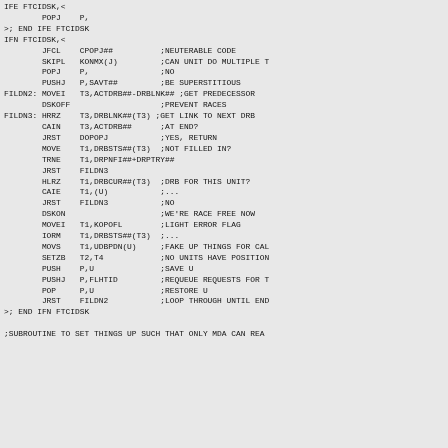IFE FTCIDSK,<
        POPJ    P,
>; END IFE FTCIDSK
IFN FTCIDSK,<
        JFCL    CPOPJ##          ;NEUTERABLE CODE
        SKIPL   KONMX(J)         ;CAN UNIT DO MULTIPLE T
        POPJ    P,               ;NO
        PUSHJ   P,SAVT##         ;BE SUPERSTITIOUS
FILDN2: MOVEI   T3,ACTDRB##-DRBLNK## ;GET PREDECESSOR
        DSKOFF                   ;PREVENT RACES
FILDN3: HRRZ    T3,DRBLNK##(T3) ;GET LINK TO NEXT DRB
        CAIN    T3,ACTDRB##      ;AT END?
        JRST    DOPOPJ           ;YES, RETURN
        MOVE    T1,DRBSTS##(T3)  ;NOT FILLED IN?
        TRNE    T1,DRPNFI##+DRPTRY##
        JRST    FILDN3
        HLRZ    T1,DRBCUR##(T3)  ;DRB FOR THIS UNIT?
        CAIE    T1,(U)           ;...
        JRST    FILDN3           ;NO
        DSKON                    ;WE'RE RACE FREE NOW
        MOVEI   T1,KOPOFL        ;LIGHT ERROR FLAG
        IORM    T1,DRBSTS##(T3)  ;...
        MOVS    T1,UDBPDN(U)     ;FAKE UP THINGS FOR CAL
        SETZB   T2,T4            ;NO UNITS HAVE POSITION
        PUSH    P,U              ;SAVE U
        PUSHJ   P,FLHTID         ;REQUEUE REQUESTS FOR T
        POP     P,U              ;RESTORE U
        JRST    FILDN2           ;LOOP THROUGH UNTIL END
>; END IFN FTCIDSK

;SUBROUTINE TO SET THINGS UP SUCH THAT ONLY MDA CAN REA